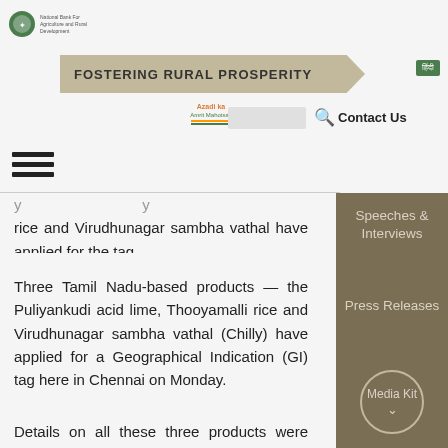FOSTERING RURAL PROSPERITY
rice and Virudhunagar sambha vathal have applied for the tag
Three Tamil Nadu-based products — the Puliyankudi acid lime, Thooyamalli rice and Virudhunagar sambha vathal (Chilly) have applied for a Geographical Indication (GI) tag here in Chennai on Monday.
Details on all these three products were collated and prepared by IPR